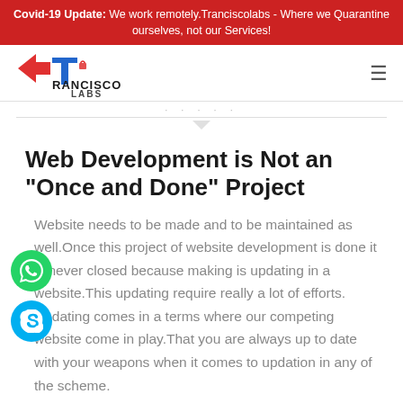Covid-19 Update: We work remotely.Tranciscolabs - Where we Quarantine ourselves, not our Services!
[Figure (logo): Francisco Labs logo with arrow icon in blue and red]
Web Development is Not an "Once and Done" Project
Website needs to be made and to be maintained as well.Once this project of website development is done it is never closed because making is updating in a website.This updating require really a lot of efforts. Updating comes in a terms where our competing website come in play.That you are always up to date with your weapons when it comes to updation in any of the scheme.